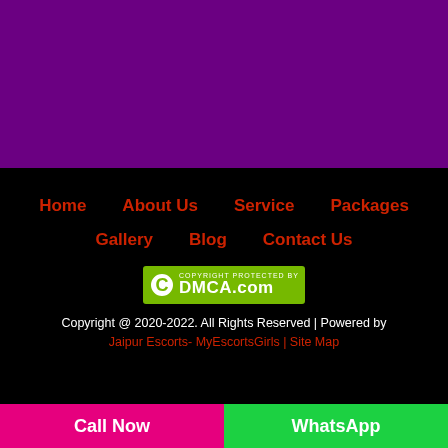[Figure (other): Purple background banner section at the top of the page]
Home
About Us
Service
Packages
Gallery
Blog
Contact Us
[Figure (logo): DMCA.com copyright protection badge with green background and white C logo]
Copyright @ 2020-2022. All Rights Reserved | Powered by Jaipur Escorts- MyEscortsGirls | Site Map
Call Now    WhatsApp